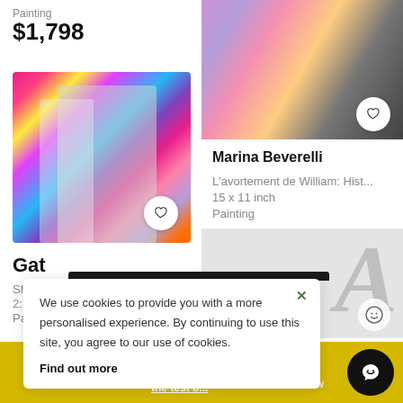Painting
$1,798
[Figure (photo): Colorful abstract/street art painting with a grayscale figure of a person in the foreground against vivid pink, yellow, blue, purple drips and splashes]
Gat
Sh...
2...
Pa...
[Figure (photo): Close-up of a colorful and dark textured painting with purple, orange, and dark grey tones; a heart/favorite button overlaid]
Marina Beverelli
L'avortement de William: Hist...
15 x 11 inch
Painting
[Figure (other): Gray panel showing a large italic letter A watermark]
We use cookies to provide you with a more personalised experience. By continuing to use this site, you agree to our use of cookies. Find out more
work now
the test b...